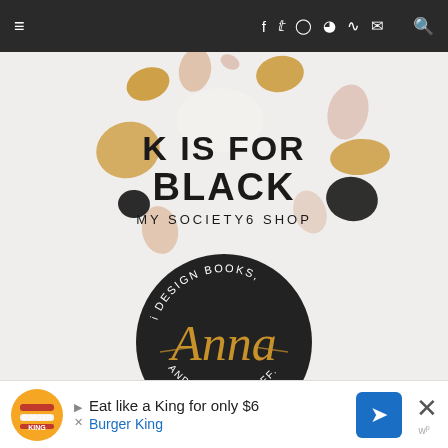≡  f  𝕏  ○  ℗  RSS  ✉  🔍
[Figure (logo): K IS FOR BLACK — MY SOCIETY6 SHOP logo with colorful terrazzo-style shapes in mustard, blush, and black on a light gray background]
[Figure (logo): Circular dark badge logo reading 'i DESIGN BOOKS, Anna AND OTHER STUFF.' with gold script lettering for 'Anna']
[Figure (other): Burger King advertisement: 'Eat like a King for only $6 — Burger King' with Burger King logo and directional sign icon]